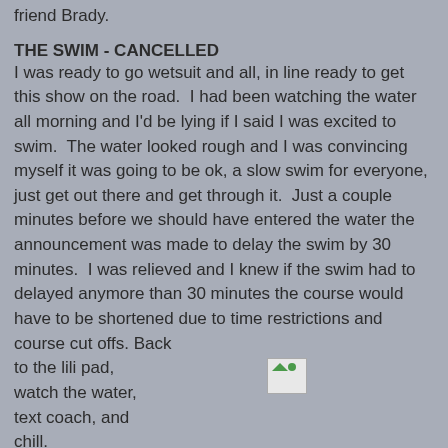friend Brady.
THE SWIM - CANCELLED
I was ready to go wetsuit and all, in line ready to get this show on the road.  I had been watching the water all morning and I'd be lying if I said I was excited to swim.  The water looked rough and I was convincing myself it was going to be ok, a slow swim for everyone, just get out there and get through it.  Just a couple minutes before we should have entered the water the announcement was made to delay the swim by 30 minutes.  I was relieved and I knew if the swim had to delayed anymore than 30 minutes the course would have to be shortened due to time restrictions and course cut offs. Back to the lili pad, watch the water, text coach, and chill.
[Figure (photo): Broken/missing image placeholder with green triangle and circle icons]
As 7:15 approached I zipped back up,